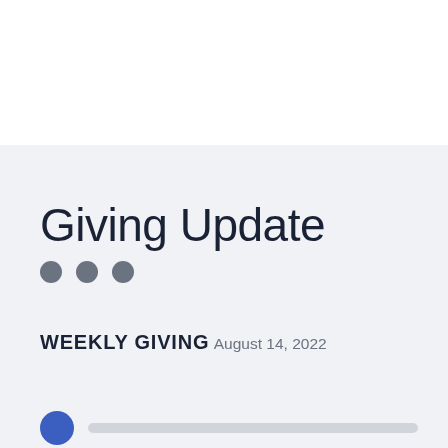Giving Update
WEEKLY GIVING
August 14, 2022